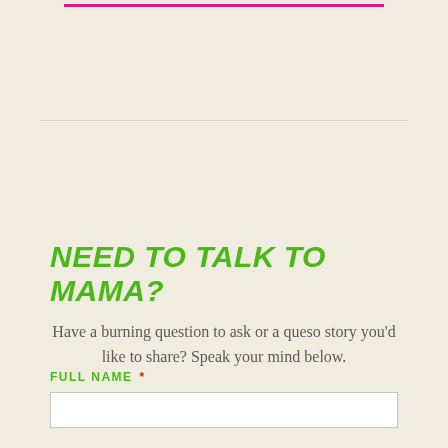NEED TO TALK TO MAMA?
Have a burning question to ask or a queso story you’d like to share? Speak your mind below.
FULL NAME *